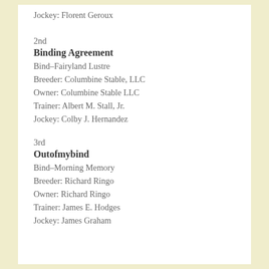Jockey: Florent Geroux
2nd
Binding Agreement
Bind–Fairyland Lustre
Breeder: Columbine Stable, LLC
Owner: Columbine Stable LLC
Trainer: Albert M. Stall, Jr.
Jockey: Colby J. Hernandez
3rd
Outofmybind
Bind–Morning Memory
Breeder: Richard Ringo
Owner: Richard Ringo
Trainer: James E. Hodges
Jockey: James Graham